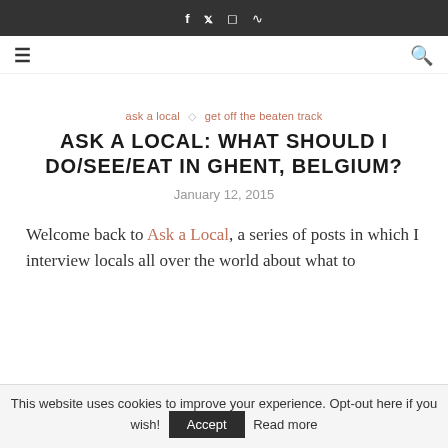f  t  Instagram  RSS
≡  [search]
ask a local  ◇  get off the beaten track
ASK A LOCAL: WHAT SHOULD I DO/SEE/EAT IN GHENT, BELGIUM?
January 12, 2015
Welcome back to Ask a Local, a series of posts in which I interview locals all over the world about what to
This website uses cookies to improve your experience. Opt-out here if you wish!  Accept  Read more